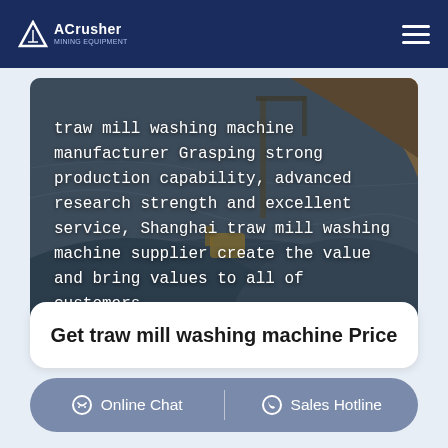ACrusher
[Figure (photo): Aerial view of a mining quarry with excavation equipment on rocky terrain, dark grey stone landscape with machinery visible]
traw mill washing machine manufacturer Grasping strong production capability, advanced research strength and excellent service, Shanghai traw mill washing machine supplier create the value and bring values to all of customers.
Get traw mill washing machine Price
Online Chat | Sales Hotline